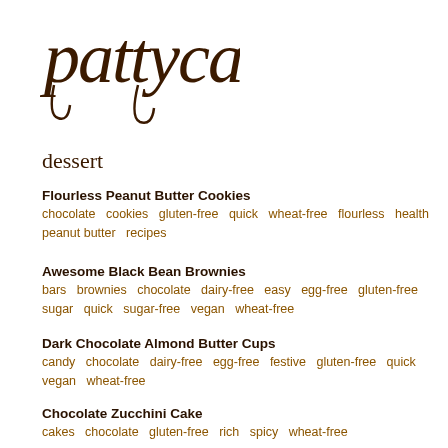[Figure (logo): Pattycake bakery logo in handwritten brown script font]
dessert
Flourless Peanut Butter Cookies
chocolate   cookies   gluten-free   quick   wheat-free   flourless   health   peanut butter   recipes
Awesome Black Bean Brownies
bars   brownies   chocolate   dairy-free   easy   egg-free   gluten-free   sugar   quick   sugar-free   vegan   wheat-free
Dark Chocolate Almond Butter Cups
candy   chocolate   dairy-free   egg-free   festive   gluten-free   quick   vegan   wheat-free
Chocolate Zucchini Cake
cakes   chocolate   gluten-free   rich   spicy   wheat-free